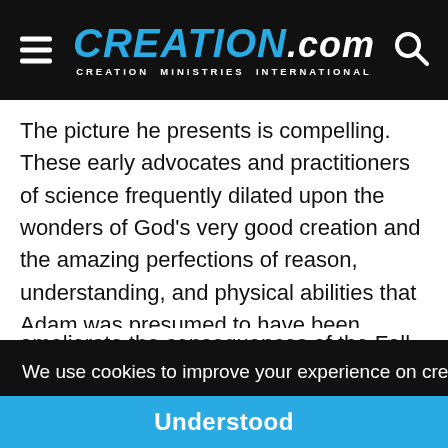CREATION.com — CREATION MINISTRIES INTERNATIONAL
The picture he presents is compelling. These early advocates and practitioners of science frequently dilated upon the wonders of God's very good creation and the amazing perfections of reason, understanding, and physical abilities that Adam was presumed to have been endowed with. They were also very conscious of the effects of the Fall in upsetting the paradise that God
We use cookies to improve your experience on creation.com and related sites.
Privacy Policy
Understood
ameliorate the consequences of the Fall. Many of the